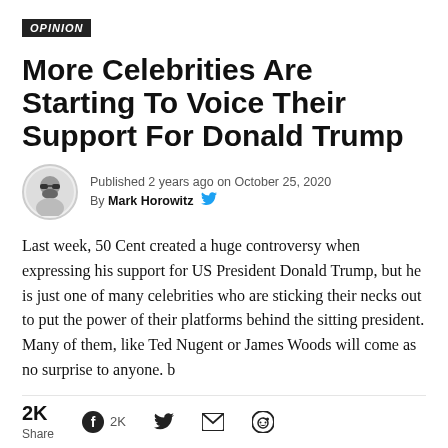OPINION
More Celebrities Are Starting To Voice Their Support For Donald Trump
Published 2 years ago on October 25, 2020
By Mark Horowitz
Last week, 50 Cent created a huge controversy when expressing his support for US President Donald Trump, but he is just one of many celebrities who are sticking their necks out to put the power of their platforms behind the sitting president. Many of them, like Ted Nugent or James Woods will come as no surprise to anyone. b
2K Share  2K